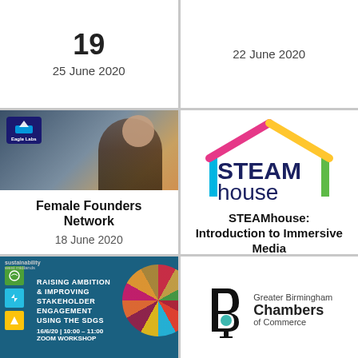19
25 June 2020
22 June 2020
[Figure (photo): Eagle Labs branded photo of a woman with glasses looking at a laptop]
Female Founders Network
18 June 2020
[Figure (logo): STEAMhouse logo with colorful house outline in pink, yellow, green, blue and dark navy text]
STEAMhouse: Introduction to Immersive Media
18 June 2020
[Figure (infographic): Sustainability West Midlands blue banner: RAISING AMBITION & IMPROVING STAKEHOLDER ENGAGEMENT USING THE SDGS. 16/6/20 | 10:00 - 11:00 ZOOM WORKSHOP]
[Figure (logo): Greater Birmingham Chambers of Commerce logo]